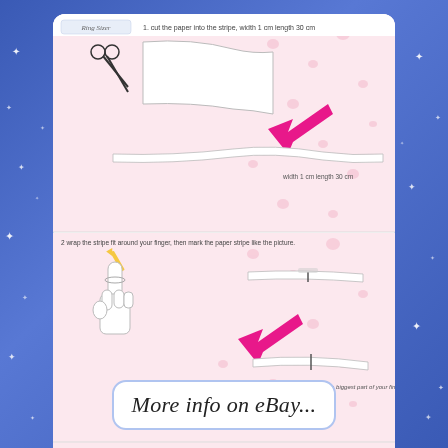[Figure (illustration): Instructional ring sizing guide with 3 steps: Step 1 shows scissors cutting paper into a 1cm wide 30cm long strip with a pink arrow pointing to the strip. Step 2 shows a hand wrapping the strip around a finger and marking it, with text to wrap around the biggest part of the finger. Step 3 shows using a ruler to measure the marked strip in millimeters, with an eBay watermark.]
More info on eBay...